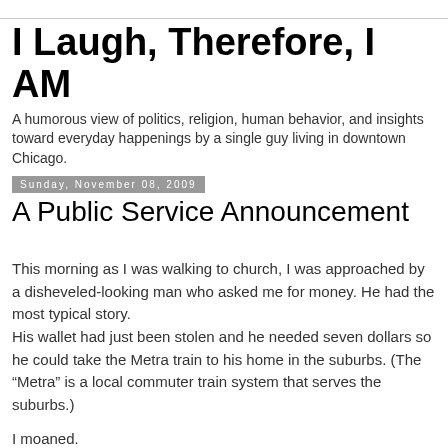I Laugh, Therefore, I AM
A humorous view of politics, religion, human behavior, and insights toward everyday happenings by a single guy living in downtown Chicago.
Sunday, November 08, 2009
A Public Service Announcement
This morning as I was walking to church, I was approached by a disheveled-looking man who asked me for money. He had the most typical story.
His wallet had just been stolen and he needed seven dollars so he could take the Metra train to his home in the suburbs. (The “Metra” is a local commuter train system that serves the suburbs.)
I moaned.